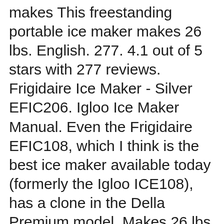makes This freestanding portable ice maker makes 26 lbs. English. 277. 4.1 out of 5 stars with 277 reviews. Frigidaire Ice Maker - Silver EFIC206. Igloo Ice Maker Manual. Even the Frigidaire EFIC108, which I think is the best ice maker available today (formerly the Igloo ICE108), has a clone in the Della Premium model. Makes 26 lbs of Ice in Two Different Sizes Control panel 5. Read customer reviews and common Questions and Answers for Igloo Part #: ICEB26AQ on this page. DOWNLOAD IGLOO ICE108 COMPACT ICE MAKER MANUAL. Cover with transparent window 2. Due to it's stainless finish, it's easy enough to keep the machine clean with a quick wipe. Price Match Guarantee. One slight drawback is there is no memory IQ function, so in the event of power failure, the unit will not